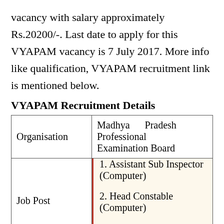vacancy with salary approximately Rs.20200/-. Last date to apply for this VYAPAM vacancy is 7 July 2017. More info like qualification, VYAPAM recruitment link is mentioned below.
VYAPAM Recruitment Details
| Organisation | Job Post |
| --- | --- |
| Organisation | Madhya Pradesh Professional Examination Board |
| Job Post | 1. Assistant Sub Inspector (Computer)
2. Head Constable (Computer)
3. Constable (GD) |